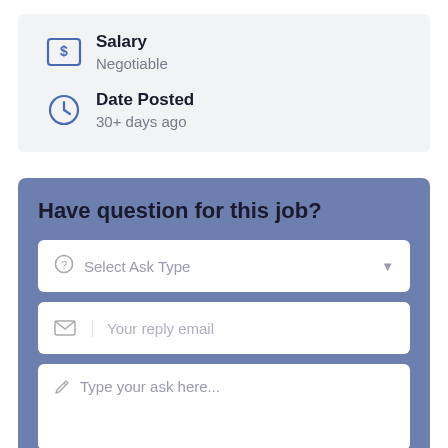Salary
Negotiable
Date Posted
30+ days ago
Have question for this job?
Select Ask Type
Your reply email
Type your ask here...